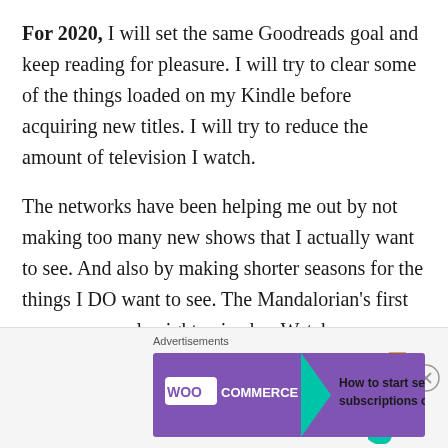For 2020, I will set the same Goodreads goal and keep reading for pleasure.  I will try to clear some of the things loaded on my Kindle before acquiring new titles.   I will try to reduce the amount of television I watch.
The networks have been helping me out by not making too many new shows that I actually want to see.  And also by making shorter seasons for the things I DO want to see. The Mandalorian's first season was only eight episodes.  Watchmen wrapped
[Figure (other): WooCommerce advertisement banner with purple background, teal arrow, and text 'How to start selling subscriptions online']